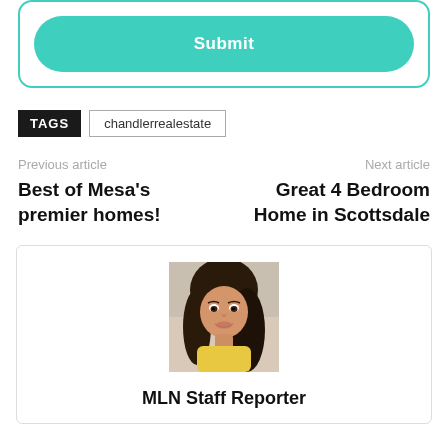Submit
TAGS   chandlerrealestate
Previous article
Best of Mesa's premier homes!
Next article
Great 4 Bedroom Home in Scottsdale
[Figure (photo): Portrait photo of a young woman with dark hair, smiling, wearing a yellow top]
MLN Staff Reporter